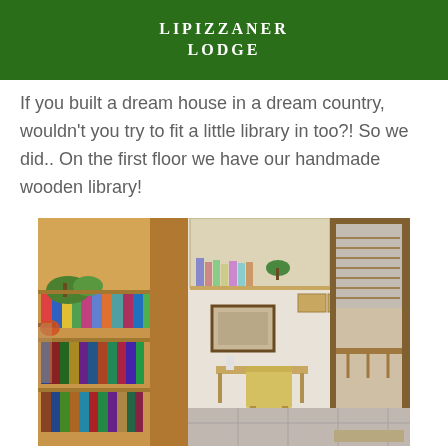LIPIZZANER LODGE
If you built a dream house in a dream country, wouldn't you try to fit a little library in too?! So we did.. On the first floor we have our handmade wooden library!
[Figure (photo): Interior photo of a handmade wooden bookshelf library on the first floor of a house, showing shelves filled with books, a small desk with chair, wall-mounted shelves, a framed picture, and a glass door opening to a balcony with outdoor furniture visible.]